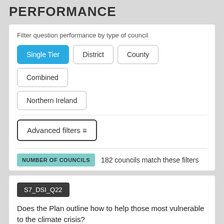PERFORMANCE
Filter question performance by type of council
Single Tier (active/selected button)
District
County
Combined
Northern Ireland
Advanced filters
NUMBER OF COUNCILS  182 councils match these filters
S7_DSI_Q22
Does the Plan outline how to help those most vulnerable to the climate crisis?